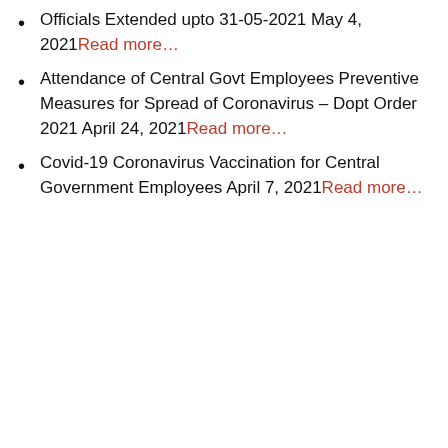Officials Extended upto 31-05-2021 May 4, 2021 Read more…
Attendance of Central Govt Employees Preventive Measures for Spread of Coronavirus – Dopt Order 2021 April 24, 2021 Read more…
Covid-19 Coronavirus Vaccination for Central Government Employees April 7, 2021 Read more…